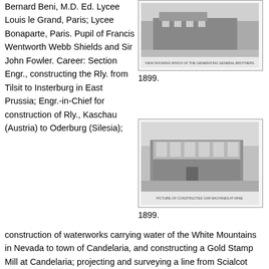Bernard Beni, M.D. Ed. Lycee Louis le Grand, Paris; Lycee Bonaparte, Paris. Pupil of Francis Wentworth Webb Shields and Sir John Fowler. Career: Section Engr., constructing the Rly. from Tilsit to Insterburg in East Prussia; Engr.-in-Chief for construction of Rly., Kaschau (Austria) to Oderburg (Silesia);
[Figure (photo): Black and white photograph of a generating station building, 1899. Caption reads: VIEW SHOWING WHICH OF THE GENERATING GENERAL BROTHERS.]
1899.
[Figure (photo): Black and white photograph of a constructed car washing or mine building, 1899. Caption reads: PICTURE OF CONSTRUCTED CAR MACHINES AT MINE.]
1899.
construction of waterworks carrying water of the White Mountains in Nevada to town of Candelaria, and constructing a Gold Stamp Mill at Candelaria; projecting and surveying a line from Scialcot over the Bannial Pass to Serinaga in Cashmere; surveying and laying out a line from Cilicite to Famatima Mine, situated in the Andes